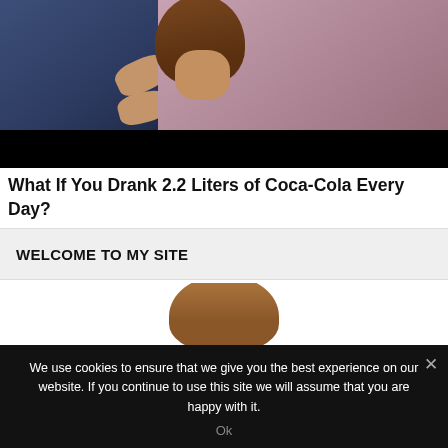[Figure (photo): Two people — one in a dark navy shirt on the left gesturing with hands, one in pink/mauve top on the right with brown hair — against white background. A black redaction bar covers text at the bottom of the image.]
What If You Drank 2.2 Liters of Coca-Cola Every Day?
WELCOME TO MY SITE
[Figure (photo): Headshot of a person with dark hair, partially visible, on a white background.]
We use cookies to ensure that we give you the best experience on our website. If you continue to use this site we will assume that you are happy with it.
Ok